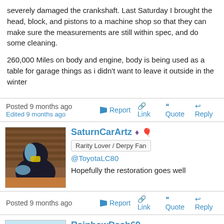severely damaged the crankshaft. Last Saturday I brought the head, block, and pistons to a machine shop so that they can make sure the measurements are still within spec, and do some cleaning.

260,000 Miles on body and engine, body is being used as a table for garage things as i didn't want to leave it outside in the winter
Posted 9 months ago  Edited 9 months ago   Report   Link  Quote  Reply
SaturnCarArtz  Rarity Lover / Derpy Fan  @ToyotaLC80  Hopefully the restoration goes well
Posted 9 months ago   Report   Link  Quote  Reply
RainbowDash69  Prison Jumpsuit Lover